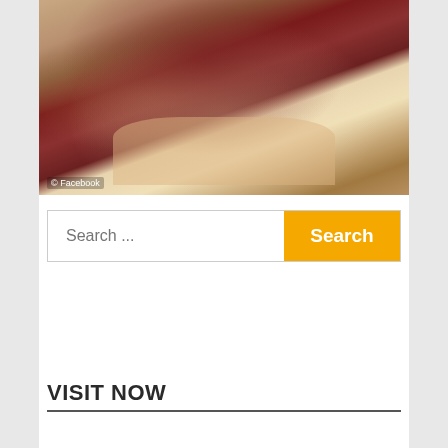[Figure (photo): A person wearing a dark red/maroon top and white shorts, posing in front of a wooden background. Photo has a '© Facebook' watermark in the lower left corner.]
Search ...
Search
VISIT NOW